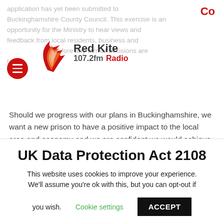Co
[Figure (logo): Red Kite 107.2fm Radio logo with stylized red and orange bird/flame graphic]
application has yet been submitted to Buckinghamshire County Council. This exercise is an opportunity for the Ministry to hear views and feedback from local residents, business and before any formal decisions are taken.
Should we progress with our plans in Buckinghamshire, we want a new prison to have a positive impact to the local area and economy and we are confident we would achieve this aim. Based on our success at HMP Five Wells at Wellingborough, we anticipate a new prison here will
UK Data Protection Act 2108
This website uses cookies to improve your experience. We'll assume you're ok with this, but you can opt-out if you wish.
Cookie settings
ACCEPT